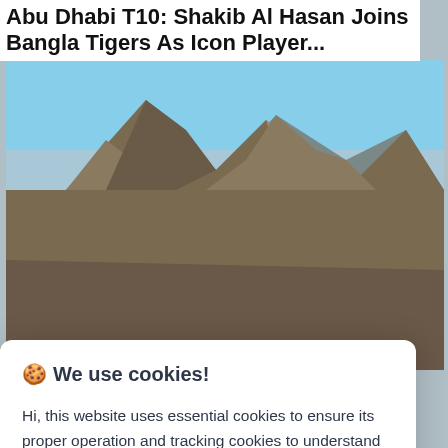Abu Dhabi T10: Shakib Al Hasan Joins Bangla Tigers As Icon Player...
[Figure (photo): Mountain landscape photo showing rocky peaks with snow and blue sky, partially obscured by a cookie consent modal overlay]
🍪 We use cookies!
Hi, this website uses essential cookies to ensure its proper operation and tracking cookies to understand how you interact with it. The latter will be set only after consent. Let me choose
Accept all
Reject all